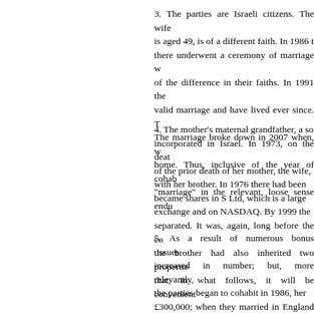3. The parties are Israeli citizens. The wife is aged 49, is of a different faith. In 1986 there underwent a ceremony of marriage v of the difference in their faiths. In 1991 the valid marriage and have lived ever since. T The marriage broke down in 2007 when, v home. Thus, inclusive of the year of cohab "marriage" in the relevant, loose sense endu
4. The mother's maternal grandfather, a so incorporated in Israel. In 1973, on the deat of the prior death of her mother, the wife, with her brother. In 1976 there had been became shares in S Ltd, which is a large exchange and on NASDAQ. By 1999 the separated. It was, again, long before the co the brother had also inherited two propertie that, in what follows, it will be convenient
5. As a result of numerous bonus issues increased in number; but, more relevantly, the parties began to cohabit in 1986, her £300,000; when they married in England i separated in 2007, they were worth £28m; they were worth £57.4m. From this figure of a subsidiary challenge by the husband in payable in the UK in the event of remittan